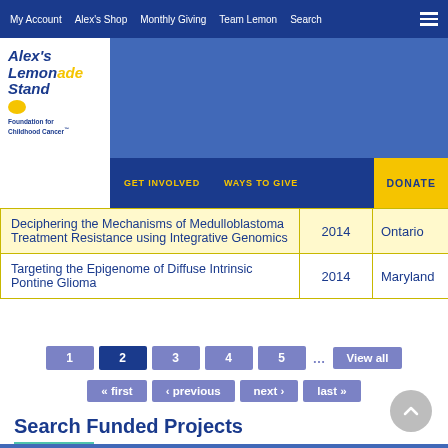My Account   Alex's Shop   Monthly Giving   Team Lemon   Search
[Figure (logo): Alex's Lemonade Stand Foundation for Childhood Cancer logo]
GET INVOLVED   WAYS TO GIVE   DONATE
|  | Year | Location |
| --- | --- | --- |
| Deciphering the Mechanisms of Medulloblastoma Treatment Resistance using Integrative Genomics | 2014 | Ontario |
| Targeting the Epigenome of Diffuse Intrinsic Pontine Glioma | 2014 | Maryland |
1
2
3
4
5
View all
« first
‹ previous
next ›
last »
Search Funded Projects